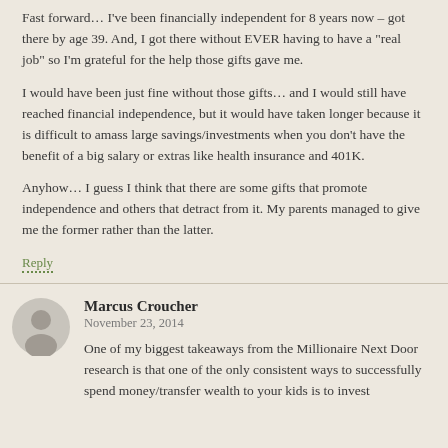Fast forward… I've been financially independent for 8 years now – got there by age 39. And, I got there without EVER having to have a "real job" so I'm grateful for the help those gifts gave me.
I would have been just fine without those gifts… and I would still have reached financial independence, but it would have taken longer because it is difficult to amass large savings/investments when you don't have the benefit of a big salary or extras like health insurance and 401K.
Anyhow… I guess I think that there are some gifts that promote independence and others that detract from it. My parents managed to give me the former rather than the latter.
Reply
Marcus Croucher
November 23, 2014
One of my biggest takeaways from the Millionaire Next Door research is that one of the only consistent ways to successfully spend money/transfer wealth to your kids is to invest